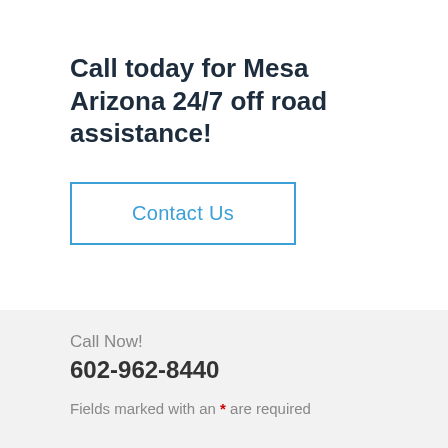Call today for Mesa Arizona 24/7 off road assistance!
Contact Us
Call Now!
602-962-8440
Fields marked with an * are required